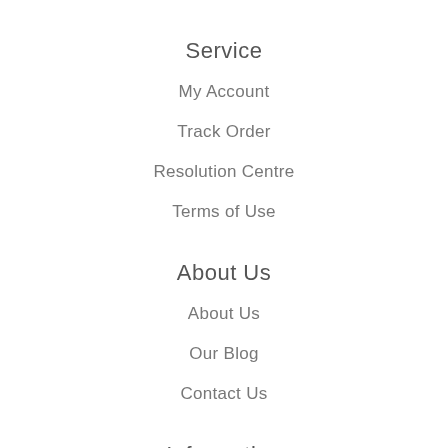Service
My Account
Track Order
Resolution Centre
Terms of Use
About Us
About Us
Our Blog
Contact Us
Information
Privacy Policy